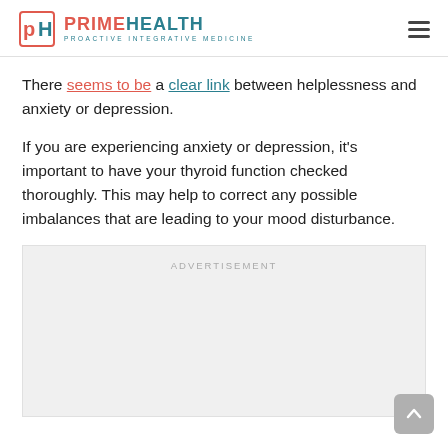PRIMEHEALTH PROACTIVE INTEGRATIVE MEDICINE
There seems to be a clear link between helplessness and anxiety or depression.
If you are experiencing anxiety or depression, it’s important to have your thyroid function checked thoroughly. This may help to correct any possible imbalances that are leading to your mood disturbance.
[Figure (other): Advertisement placeholder box with label ADVERTISEMENT]